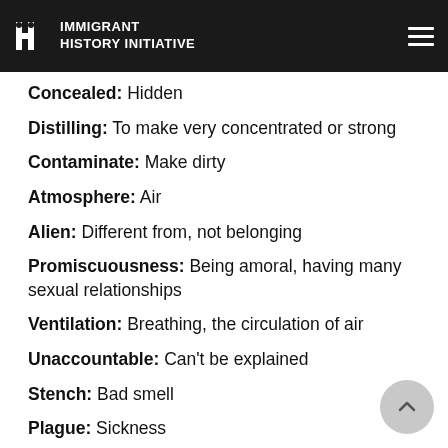Treacherous: Disloyal, betraying or tricking someone
IMMIGRANT HISTORY INITIATIVE
Concealed: Hidden
Distilling: To make very concentrated or strong
Contaminate: Make dirty
Atmosphere: Air
Alien: Different from, not belonging
Promiscuousness: Being amoral, having many sexual relationships
Ventilation: Breathing, the circulation of air
Unaccountable: Can't be explained
Stench: Bad smell
Plague: Sickness
Quarantine: Separating from other people to prevent the spread of disease